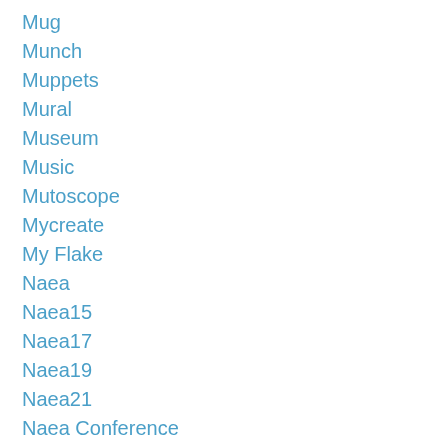Mug
Munch
Muppets
Mural
Museum
Music
Mutoscope
Mycreate
My Flake
Naea
Naea15
Naea17
Naea19
Naea21
Naea Conference
Nagomatic4bbd2600ee
Narration
Natural Child World
NEC
Negative Space
Neonrod